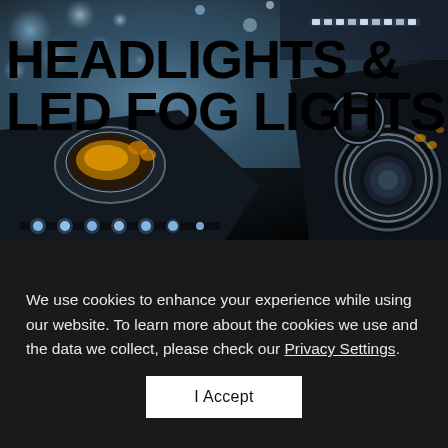[Figure (photo): Advertisement banner for Headlights & LED Fog Lights showing two automotive headlight assemblies with LED lights glowing blue/white on a dramatic dark background with bokeh light effects. Bold black text reads 'HEADLIGHTS & LED FOG LIGHTS'.]
We use cookies to enhance your experience while using our website. To learn more about the cookies we use and the data we collect, please check our Privacy Settings.
I Accept